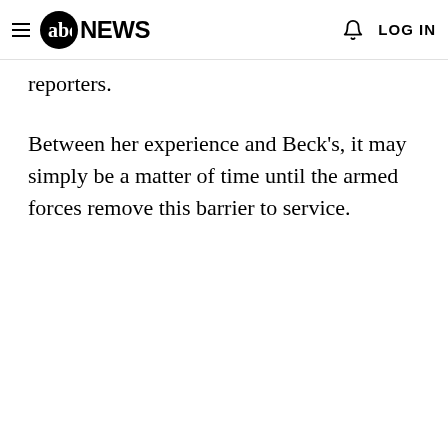abc NEWS  LOG IN
reporters.
Between her experience and Beck's, it may simply be a matter of time until the armed forces remove this barrier to service.